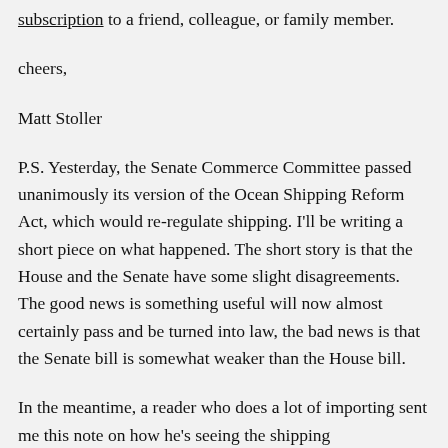subscription to a friend, colleague, or family member.
cheers,
Matt Stoller
P.S. Yesterday, the Senate Commerce Committee passed unanimously its version of the Ocean Shipping Reform Act, which would re-regulate shipping. I'll be writing a short piece on what happened. The short story is that the House and the Senate have some slight disagreements. The good news is something useful will now almost certainly pass and be turned into law, the bad news is that the Senate bill is somewhat weaker than the House bill.
In the meantime, a reader who does a lot of importing sent me this note on how he's seeing the shipping